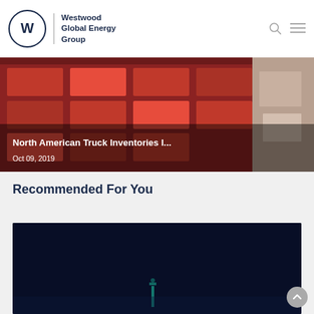[Figure (logo): Westwood Global Energy Group logo with circular W emblem and company name]
[Figure (photo): Aerial view of North American truck/vehicle inventory area with red vehicles, overlaid with title text and date Oct 09, 2019]
Recommended For You
[Figure (photo): Dark navy/black card image with faint teal figure, representing a recommended article or report]